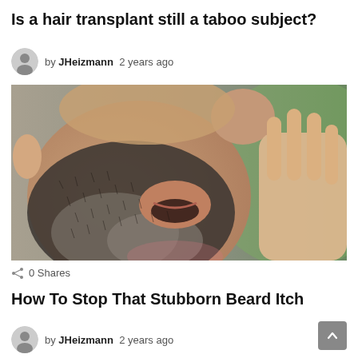Is a hair transplant still a taboo subject?
by JHeizmann  2 years ago
[Figure (photo): Close-up photo of a man's face with a stubbly beard scratching his beard with his hand]
0 Shares
How To Stop That Stubborn Beard Itch
by JHeizmann  2 years ago